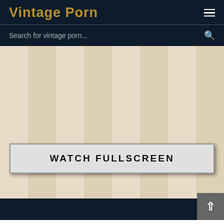Vintage Porn
Search for vintage porn...
[Figure (screenshot): Striped beige background area with vertical light and slightly darker alternating stripes]
WATCH FULLSCREEN